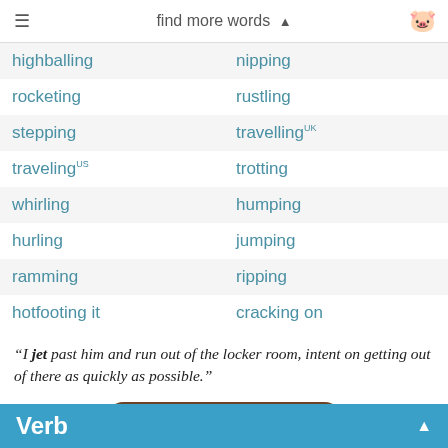find more words ▲
| highballing | nipping |
| rocketing | rustling |
| stepping | travellingUK |
| travelingUS | trotting |
| whirling | humping |
| hurling | jumping |
| ramming | ripping |
| hotfooting it | cracking on |
“I jet past him and run out of the locker room, intent on getting out of there as quickly as possible.”
more synonyms like this ▼
Verb